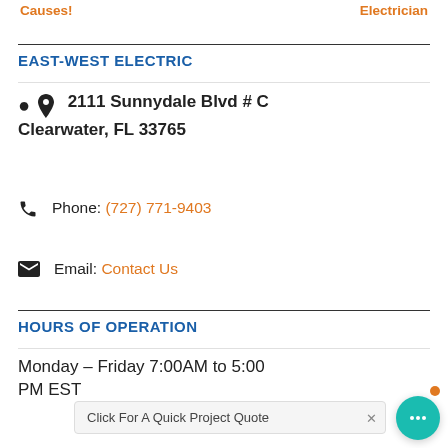Causes!   Electrician
EAST-WEST ELECTRIC
2111 Sunnydale Blvd # C
Clearwater, FL 33765
Phone: (727) 771-9403
Email: Contact Us
HOURS OF OPERATION
Monday – Friday 7:00AM to 5:00 PM EST
Click For A Quick Project Quote